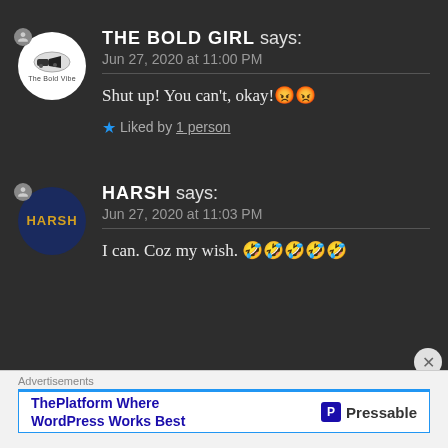THE BOLD GIRL says: Jun 27, 2020 at 11:00 PM
Shut up! You can't, okay! 😡😡
★ Liked by 1 person
HARSH says: Jun 27, 2020 at 11:03 PM
I can. Coz my wish. 🤣🤣🤣🤣🤣
Advertisements
ThePlatform Where WordPress Works Best | Pressable